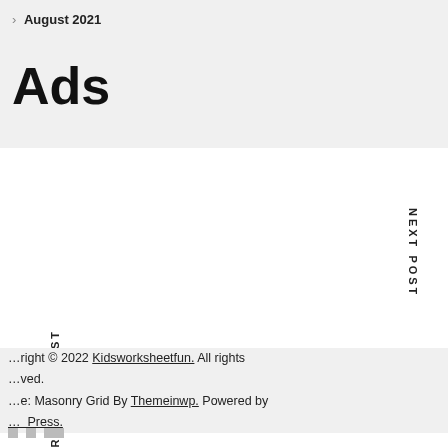> August 2021
Ads
PREVIOUS POST
NEXT POST
Copyright © 2022 Kidsworksheetfun. All rights reserved.
Theme: Masonry Grid By Themeinwp. Powered by WordPress.